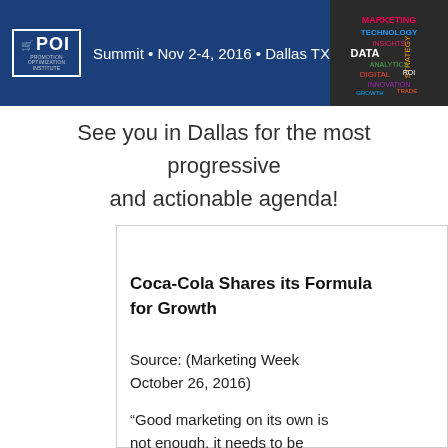[Figure (banner): POI Summit banner with logo, text 'Summit • Nov 2-4, 2016 • Dallas TX', and a word cloud image on the right showing marketing-related terms]
See you in Dallas for the most progressive and actionable agenda!
Trends & Developments
Coca-Cola Shares its Formula for Growth
Source: (Marketing Week October 26, 2016)
“Good marketing on its own is not enough, it needs to be
POI Pe
On We
we wi chose high-v us in t inform